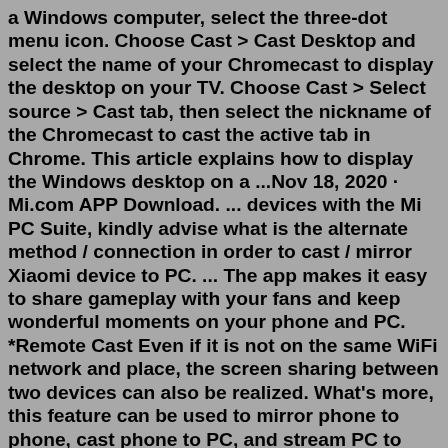a Windows computer, select the three-dot menu icon. Choose Cast > Cast Desktop and select the name of your Chromecast to display the desktop on your TV. Choose Cast > Select source > Cast tab, then select the nickname of the Chromecast to cast the active tab in Chrome. This article explains how to display the Windows desktop on a ...Nov 18, 2020 · Mi.com APP Download. ... devices with the Mi PC Suite, kindly advise what is the alternate method / connection in order to cast / mirror Xiaomi device to PC. ... The app makes it easy to share gameplay with your fans and keep wonderful moments on your phone and PC. *Remote Cast Even if it is not on the same WiFi network and place, the screen sharing between two devices can also be realized. What's more, this feature can be used to mirror phone to phone, cast phone to PC, and stream PC to phone.Download the cast app on your phone or tablet to get set up!Chromecast built-in is a technology that lets you cast your favorite entertainment and apps from your phone, tablet or laptop right to your TV. and also ... Cast is Cast...